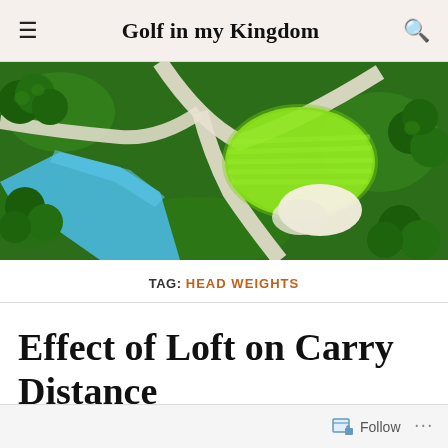Golf in my Kingdom
[Figure (illustration): Aerial view of a golf course hole with green putting surface, sand bunker, blue water hazard, white cart paths, and trees rendered in a 3D illustrated style]
TAG: HEAD WEIGHTS
Effect of Loft on Carry Distance
Follow